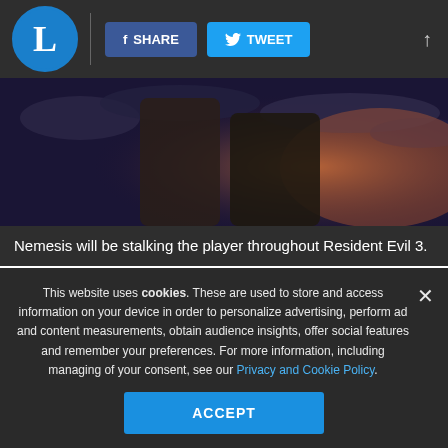L | SHARE | TWEET
[Figure (photo): Two characters standing against a dramatic cloudy sky background, promotional image for Resident Evil 3]
Nemesis will be stalking the player throughout Resident Evil 3.
ADVERTISEMENT
This website uses cookies. These are used to store and access information on your device in order to personalize advertising, perform ad and content measurements, obtain audience insights, offer social features and remember your preferences. For more information, including managing of your consent, see our Privacy and Cookie Policy.